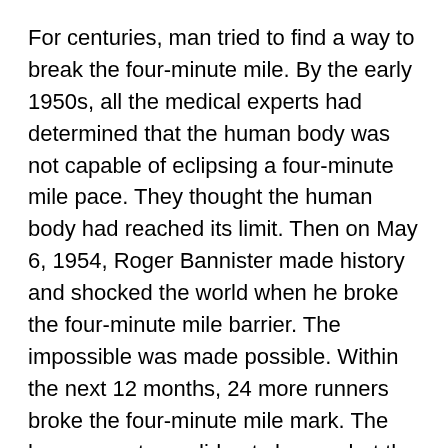For centuries, man tried to find a way to break the four-minute mile. By the early 1950s, all the medical experts had determined that the human body was not capable of eclipsing a four-minute mile pace. They thought the human body had reached its limit. Then on May 6, 1954, Roger Bannister made history and shocked the world when he broke the four-minute mile barrier. The impossible was made possible. Within the next 12 months, 24 more runners broke the four-minute mile mark. The human anatomy did not change, but the belief system of what people thought was possible had changed.
4. Understand the mindset of a Revolutionary
You are a revolutionary if, and only if, you are fascinated by the future, restless for change, patient for progress, and deeply dissatisfied with the status quo. As a revolutionary, you are never satisfied with the present, because in your